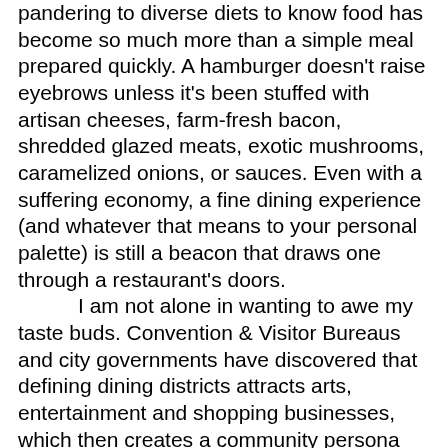pandering to diverse diets to know food has become so much more than a simple meal prepared quickly. A hamburger doesn't raise eyebrows unless it's been stuffed with artisan cheeses, farm-fresh bacon, shredded glazed meats, exotic mushrooms, caramelized onions, or sauces. Even with a suffering economy, a fine dining experience (and whatever that means to your personal palette) is still a beacon that draws one through a restaurant's doors.
I am not alone in wanting to awe my taste buds. Convention & Visitor Bureaus and city governments have discovered that defining dining districts attracts arts, entertainment and shopping businesses, which then creates a community persona that's easy to market.
Fort Worth has the West 7th Street Corridor, formerly a light industrial space converted into hip eateries and bars that becomes a raucous block party for private groups. Uptown Charlotte (NC) is actually th... Read more